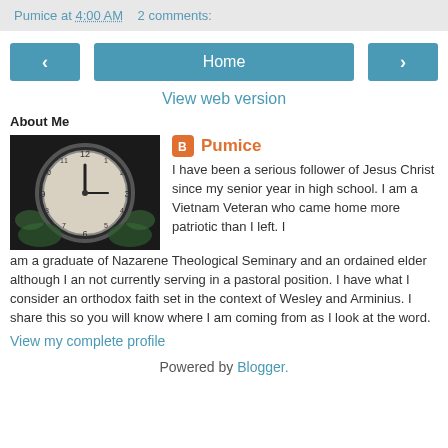Pumice at 4:00 AM    2 comments:
[Figure (other): Navigation bar with left arrow button, Home button, right arrow button]
View web version
About Me
[Figure (photo): Clock face photo with dark background and green leaves]
Pumice
I have been a serious follower of Jesus Christ since my senior year in high school. I am a Vietnam Veteran who came home more patriotic than I left. I am a graduate of Nazarene Theological Seminary and an ordained elder although I an not currently serving in a pastoral position. I have what I consider an orthodox faith set in the context of Wesley and Arminius. I share this so you will know where I am coming from as I look at the word.
View my complete profile
Powered by Blogger.